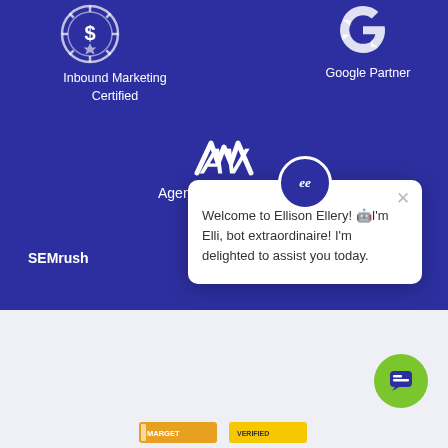[Figure (logo): Inbound Marketing Certified badge icon (circular gear/medal shape)]
Inbound Marketing
Certified
[Figure (logo): Google G logo in white]
Google Partner
[Figure (logo): Agency Vista AV logo mark in white]
Agency Vista Verified
SEMrush
[Figure (screenshot): Chat popup overlay with EE avatar, close button, and welcome message: Welcome to Ellison Ellery! 🤖I'm Elli, bot extraordinaire! I'm delighted to assist you today.]
[Figure (other): Green circular chat widget button at bottom right]
[Figure (logo): Two small partner/badge logos at the bottom of the page]